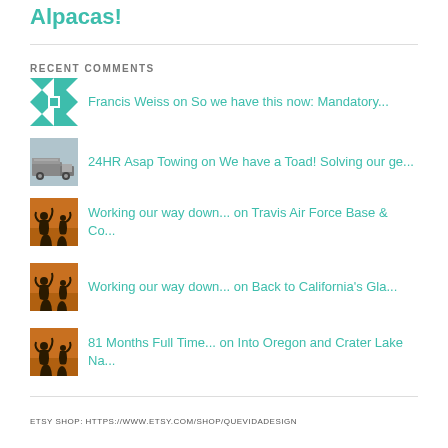Alpacas!
RECENT COMMENTS
Francis Weiss on So we have this now: Mandatory...
24HR Asap Towing on We have a Toad! Solving our ge...
Working our way down... on Travis Air Force Base & Co...
Working our way down... on Back to California's Gla...
81 Months Full Time... on Into Oregon and Crater Lake Na...
ETSY SHOP:  HTTPS://WWW.ETSY.COM/SHOP/QUEVIDADESIGN